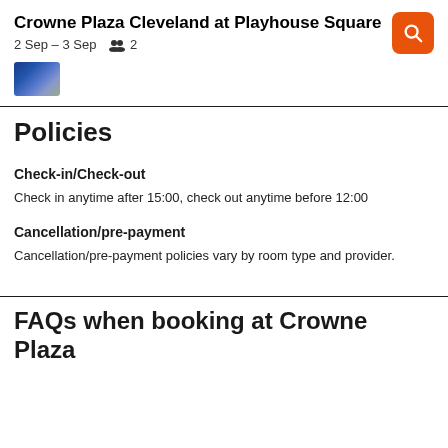Crowne Plaza Cleveland at Playhouse Square
2 Sep – 3 Sep   2
[Figure (photo): Small thumbnail image of hotel, partially visible at bottom of header area]
Policies
Check-in/Check-out
Check in anytime after 15:00, check out anytime before 12:00
Cancellation/pre-payment
Cancellation/pre-payment policies vary by room type and provider.
FAQs when booking at Crowne Plaza